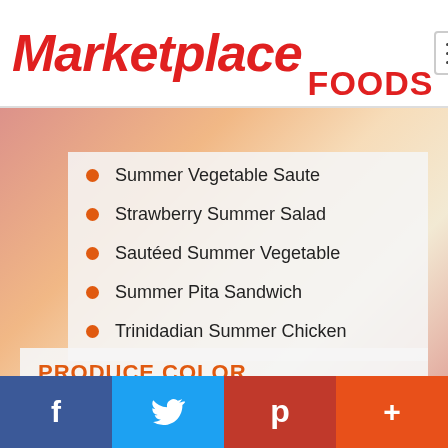Marketplace FOODS
Summer Vegetable Saute
Strawberry Summer Salad
Sautéed Summer Vegetable
Summer Pita Sandwich
Trinidadian Summer Chicken
PRODUCE COLOR
Produce that share color often share health benefits. Learn about eating by color!
Blue | Red | Green | White | Orange
f  (Twitter)  p  +